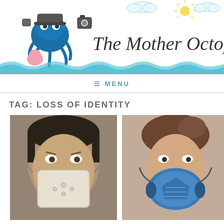[Figure (logo): The Mother Octopus blog header with octopus illustration and decorative script title text, with teal wave decoration at bottom]
≡ MENU
TAG: LOSS OF IDENTITY
[Figure (photo): Two-photo collage: left shows a man in a Hannibal Lecter-style face mask, right shows a woman wearing a blue respirator/gas mask]